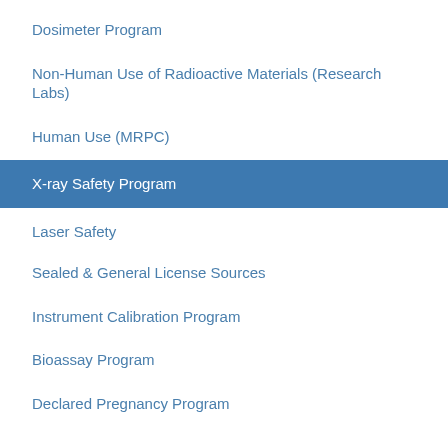Dosimeter Program
Non-Human Use of Radioactive Materials (Research Labs)
Human Use (MRPC)
X-ray Safety Program
Laser Safety
Sealed & General License Sources
Instrument Calibration Program
Bioassay Program
Declared Pregnancy Program